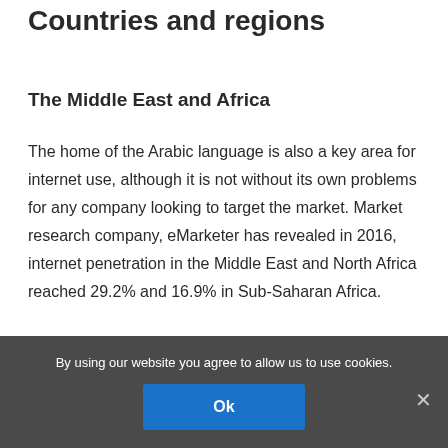Countries and regions
The Middle East and Africa
The home of the Arabic language is also a key area for internet use, although it is not without its own problems for any company looking to target the market. Market research company, eMarketer has revealed in 2016, internet penetration in the Middle East and North Africa reached 29.2% and 16.9% in Sub-Saharan Africa.
By using our website you agree to allow us to use cookies.
Ok